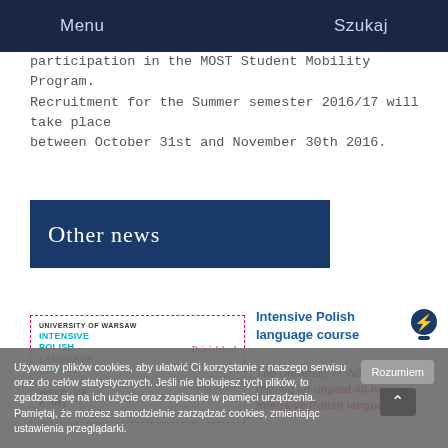Menu    Szukaj
participation in the MOST Student Mobility Program. Recruitment for the Summer semester 2016/17 will take place between October 31st and November 30th 2016.
Other news
[Figure (illustration): University of Warsaw Intensive Polish Language Course promotional card with dashed border, showing course title in cyan, date 19-30.09.2022, Welcome Point logo, and Polish greetings: Dzień dobry!, Cześć!, Jak się masz?]
Intensive Polish language course
The University of Warsaw is offering an unpaid 40-hour intensive Polish language
Używamy plików cookies, aby ułatwić Ci korzystanie z naszego serwisu oraz do celów statystycznych. Jeśli nie blokujesz tych plików, to zgadzasz się na ich użycie oraz zapisanie w pamięci urządzenia. Pamiętaj, że możesz samodzielnie zarządzać cookies, zmieniając ustawienia przeglądarki.